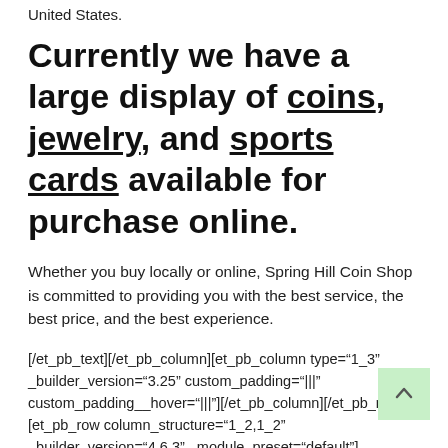United States.
Currently we have a large display of coins, jewelry, and sports cards available for purchase online.
Whether you buy locally or online, Spring Hill Coin Shop is committed to providing you with the best service, the best price, and the best experience.
[/et_pb_text][/et_pb_column][et_pb_column type="1_3" _builder_version="3.25" custom_padding="|||" custom_padding__hover="|||"][/et_pb_column][/et_pb_row][et_pb_row column_structure="1_2,1_2" _builder_version="4.6.3" _module_preset="default"][et_pb_column type="1_2" _builder_version="4.6.3" _module_preset="default"][et_pb_button button_url="tel:3525859772" button_text="Call Us" button_alignment="center" _builder_version="4.6.3"